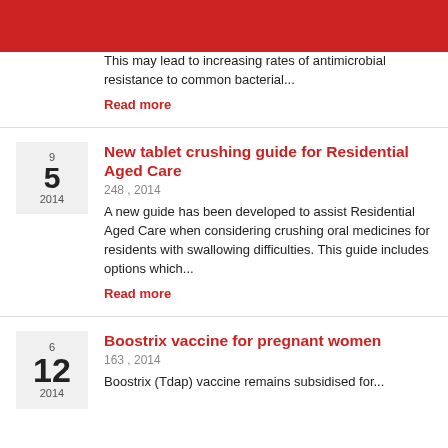This may lead to increasing rates of antimicrobial resistance to common bacterial...
Read more
New tablet crushing guide for Residential Aged Care
248 , 2014
A new guide has been developed to assist Residential Aged Care when considering crushing oral medicines for residents with swallowing difficulties. This guide includes options which...
Read more
Boostrix vaccine for pregnant women
163 , 2014
Boostrix (Tdap) vaccine remains subsidised for...